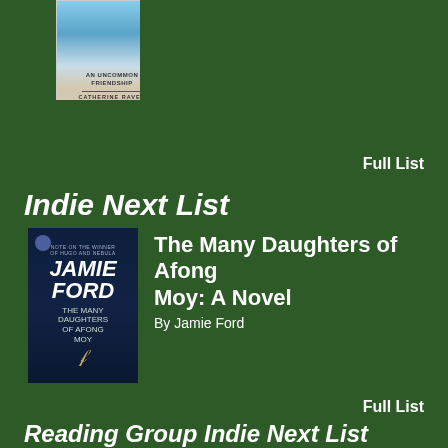[Figure (photo): Book cover of 'Fox and I: An Uncommon Friendship' by Catherine Raven, partially visible at top]
Full List
Indie Next List
[Figure (photo): Book cover of 'The Many Daughters of Afong Moy' by Jamie Ford - dark blue cover with author name JAMIE FORD in large letters]
The Many Daughters of Afong Moy: A Novel
By Jamie Ford
Full List
Reading Group Indie Next List
[Figure (photo): Book cover of 'The Kindest Lie: A Novel' by Nancy Johnson - red cover with teal stripe]
The Kindest Lie: A Novel
By Nancy Johnson